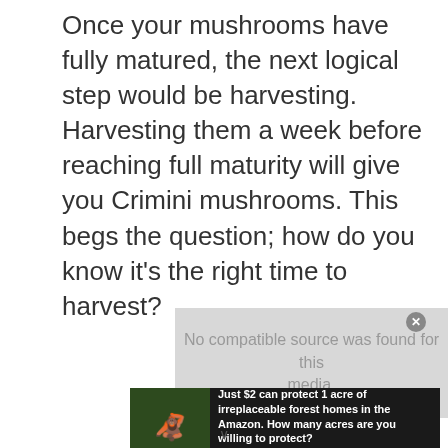Once your mushrooms have fully matured, the next logical step would be harvesting. Harvesting them a week before reaching full maturity will give you Crimini mushrooms. This begs the question; how do you know it's the right time to harvest?
[Figure (other): Media player placeholder box with grey background showing 'No compatible source was found for this media.' text and a close button]
[Figure (other): Advertisement banner with dark background showing an orangutan in a forest setting. Text reads: 'Just $2 can protect 1 acre of irreplaceable forest homes in the Amazon. How many acres are you willing to protect?' with a green 'PROTECT FORESTS NOW' button.]